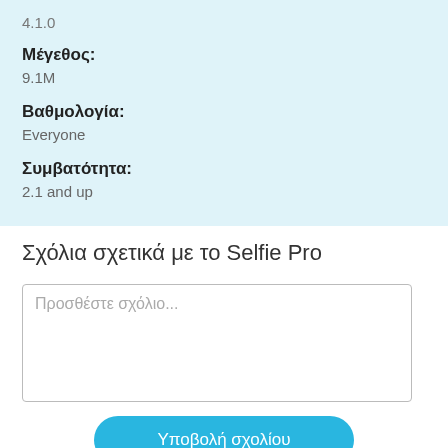4.1.0
Μέγεθος:
9.1M
Βαθμολογία:
Everyone
Συμβατότητα:
2.1 and up
Σχόλια σχετικά με το Selfie Pro
Προσθέστε σχόλιο...
Υποβολή σχολίου